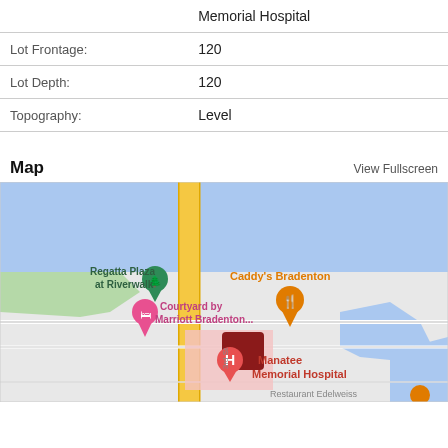| Field | Value |
| --- | --- |
| Memorial Hospital |  |
| Lot Frontage: | 120 |
| Lot Depth: | 120 |
| Topography: | Level |
Map
View Fullscreen
[Figure (map): Google Maps view showing Manatee Memorial Hospital area in Bradenton, FL. Nearby landmarks include Regatta Plaza at Riverwalk, Caddy's Bradenton, and Courtyard by Marriott Bradenton. A yellow road runs vertically through the center. The Manatee River (blue water) is visible at top. A red marker indicates the property location near Manatee Memorial Hospital.]